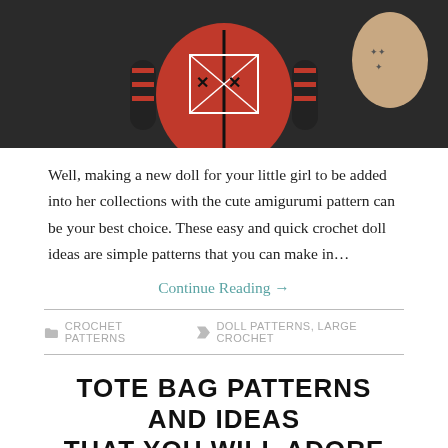[Figure (photo): Photo of a crocheted amigurumi doll held by a person. The doll is red with black and white cross-stitch details on the torso, wearing a black outfit with striped sleeves. A tattooed arm is visible in the background.]
Well, making a new doll for your little girl to be added into her collections with the cute amigurumi pattern can be your best choice. These easy and quick crochet doll ideas are simple patterns that you can make in…
Continue Reading →
CROCHET PATTERNS   DOLL PATTERNS, LARGE CROCHET
TOTE BAG PATTERNS AND IDEAS THAT YOU WILL ADORE
SEPTEMBER 15, 2019  /  CECILIA KIRA  /  LEAVE A COMMENT